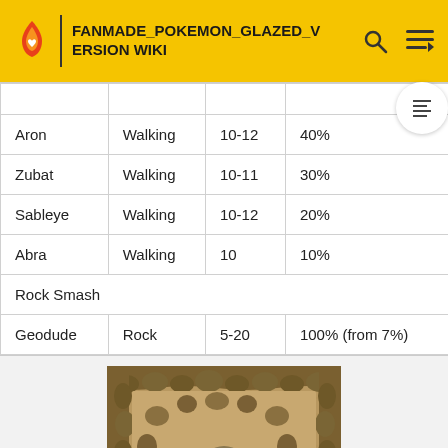FANMADE_POKEMON_GLAZED_VERSION WIKI
| Pokemon | Method | Level | Chance |
| --- | --- | --- | --- |
| Aron | Walking | 10-12 | 40% |
| Zubat | Walking | 10-11 | 30% |
| Sableye | Walking | 10-12 | 20% |
| Abra | Walking | 10 | 10% |
| Rock Smash |  |  |  |
| Geodude | Rock | 5-20 | 100% (from 7%) |
[Figure (screenshot): Game screenshot showing a cave/dungeon map with rock formations and a Pokemon (Geodude) visible in the center.]